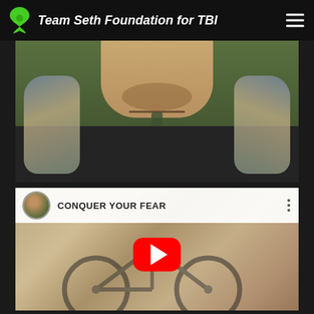Team Seth Foundation for TBI
[Figure (photo): Photo of a young man with tattoos on both arms, wearing a dark tank top and a necklace with a pendant, photographed against a green leafy background.]
[Figure (screenshot): YouTube video embed titled 'CONQUER YOUR FEAR' showing a bicycle leaning against a wall, with a red YouTube play button overlay. A small circular avatar of a man in a red jacket is shown in the top left of the video header.]